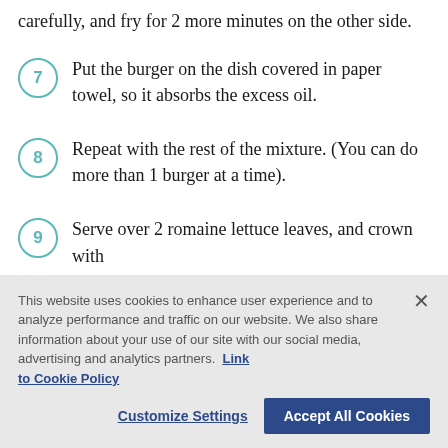carefully, and fry for 2 more minutes on the other side.
7. Put the burger on the dish covered in paper towel, so it absorbs the excess oil.
8. Repeat with the rest of the mixture. (You can do more than 1 burger at a time).
9. Serve over 2 romaine lettuce leaves, and crown with
This website uses cookies to enhance user experience and to analyze performance and traffic on our website. We also share information about your use of our site with our social media, advertising and analytics partners. Link to Cookie Policy
Customize Settings | Accept All Cookies